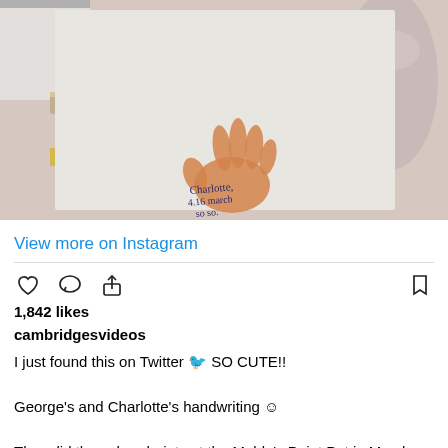[Figure (photo): A child's orange handprint on white paper with handwritten text 'Charlotte, 4.16 march so so.' Below the handprint. Items in the background include a wooden block and a ceramic vase-like object.]
View more on Instagram
[Figure (other): Instagram action icons: heart (like), comment bubble, share arrow on the left; bookmark icon on the right]
1,842 likes
cambridgesvideos
I just found this on Twitter 🐦 SO CUTE!!

George's and Charlotte's handwriting ☺

They did these handprints at the Mable's Paint Pot in March and they visited it again last week.